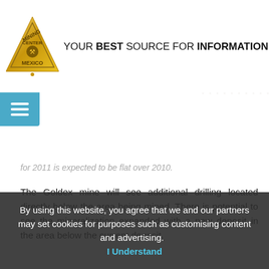YOUR BEST SOURCE FOR INFORMATION
for 2011 is expected to be flat over 2010.
The Goldex mine will see additional drilling located directly below the area being mined. There is potential to see the mineralization expanded with a new deposit in the area below the current deposit.
LaRonde’s production in 2011 is expected to be about 157,000 ounces, a drop from 2010’s production of 162,800 ounces of gold due to lower ore grades being mined until a new internal shaft is completed later in the year. After 2011, production is expected to ramp up to 338,000 ounces of gold per year as higher grades
By using this website, you agree that we and our partners may set cookies for purposes such as customising content and advertising. I Understand